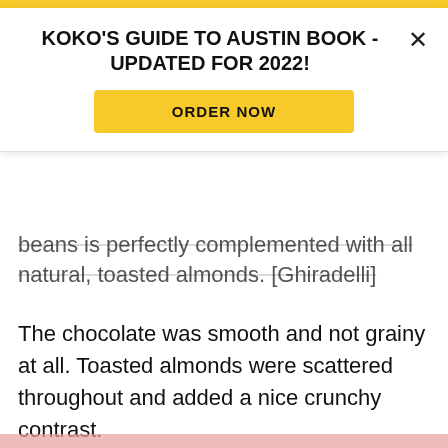KOKO'S GUIDE TO AUSTIN BOOK - UPDATED FOR 2022!
ORDER NOW
beans is perfectly complemented with all natural, toasted almonds. [Ghiradelli]
The chocolate was smooth and not grainy at all. Toasted almonds were scattered throughout and added a nice crunchy contrast.
For more information
To buy
Ghirardelli Chocolate Luxe Milk Almond